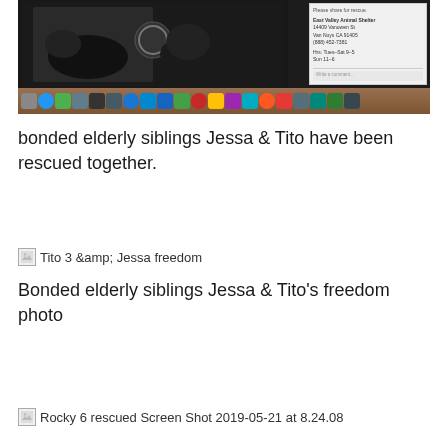[Figure (screenshot): Screenshot of a Mac desktop showing a Facebook post about bonded elderly dogs Jessa and Tito at East Valley Animal Shelter, with Mac dock bar at bottom]
bonded elderly siblings Jessa & Tito have been rescued together.
[Figure (photo): Broken image placeholder labeled 'Tito 3 &amp; Jessa freedom']
Bonded elderly siblings Jessa & Tito's freedom photo
[Figure (screenshot): Broken image placeholder labeled 'Rocky 6 rescued Screen Shot 2019-05-21 at 8.24.08']